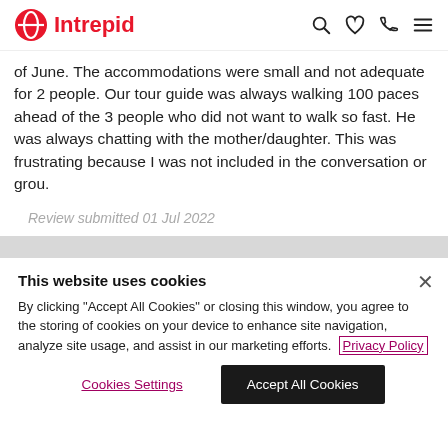Intrepid
of June. The accommodations were small and not adequate for 2 people. Our tour guide was always walking 100 paces ahead of the 3 people who did not want to walk so fast. He was always chatting with the mother/daughter. This was frustrating because I was not included in the conversation or grou.
Review submitted 01 Jul 2022
This website uses cookies
By clicking "Accept All Cookies" or closing this window, you agree to the storing of cookies on your device to enhance site navigation, analyze site usage, and assist in our marketing efforts. Privacy Policy
Cookies Settings
Accept All Cookies